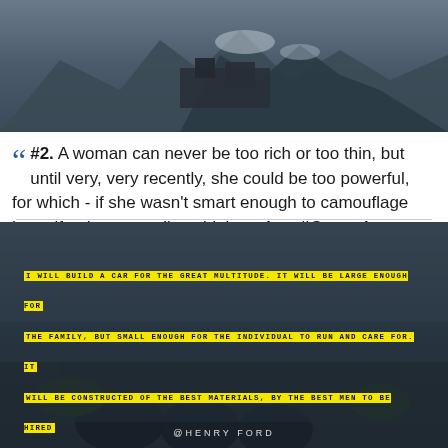[Figure (photo): Dark atmospheric landscape photo with mountains/glaciers, watermark reading QUOTESINSIGHT.COM]
“” #2. A woman can never be too rich or too thin, but until very, very recently, she could be too powerful, for which - if she wasn't smart enough to camouflage herself - she generally paid the price. #Quote by Stacy Schiff
Woman
Smart
Rich
[Figure (photo): Dark nighttime photo of a building/bridge with yellow highlighted text overlay quoting Henry Ford about building a car for the great multitude. Attribution: @HENRY FORD]